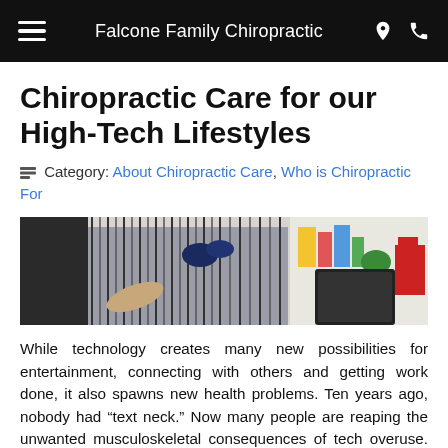Falcone Family Chiropractic
Chiropractic Care for our High-Tech Lifestyles
Category: About Chiropractic Care, Who is Chiropractic For
[Figure (photo): Woman in striped shirt holding her lower back in pain, seated at a desk with a laptop and colorful items in the background]
While technology creates many new possibilities for entertainment, connecting with others and getting work done, it also spawns new health problems. Ten years ago, nobody had “text neck.” Now many people are reaping the unwanted musculoskeletal consequences of tech overuse. “Text Neck” Instead